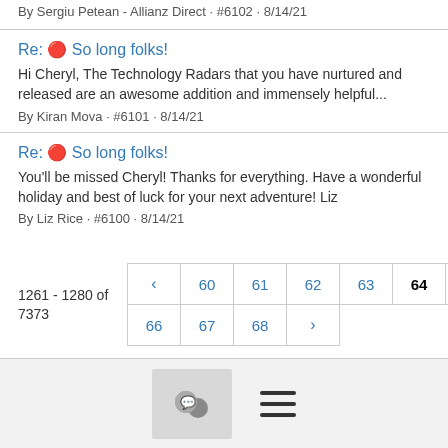By Sergiu Petean - Allianz Direct · #6102 · 8/14/21
Re: 🔴 So long folks!
Hi Cheryl, The Technology Radars that you have nurtured and released are an awesome addition and immensely helpful...
By Kiran Mova · #6101 · 8/14/21
Re: 🔴 So long folks!
You'll be missed Cheryl! Thanks for everything. Have a wonderful holiday and best of luck for your next adventure! Liz
By Liz Rice · #6100 · 8/14/21
1261 - 1280 of 7373
chat icon and menu icon